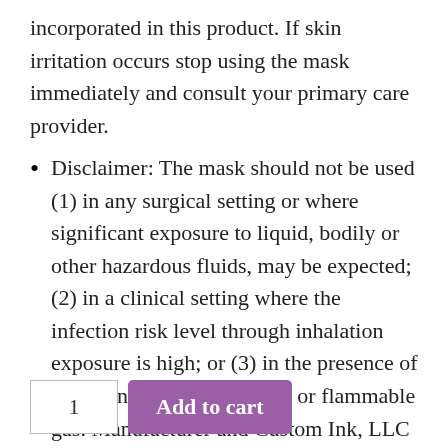incorporated in this product. If skin irritation occurs stop using the mask immediately and consult your primary care provider.
Disclaimer: The mask should not be used (1) in any surgical setting or where significant exposure to liquid, bodily or other hazardous fluids, may be expected; (2) in a clinical setting where the infection risk level through inhalation exposure is high; or (3) in the presence of a high intensity heat source or flammable gas. Manufacturer and Custom Ink, LLC make no warranties, either express or implied, that the mask prevents infection or the transmission of viruses or diseases.